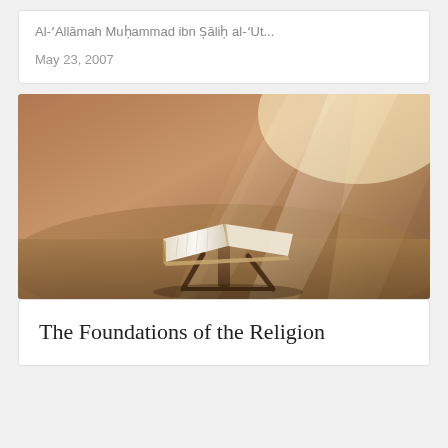Al-ʻAllāmah Muḥammad ibn Ṣāliḥ al-ʻUt...
May 23, 2007
[Figure (photo): An open book (Quran) resting on a wooden stand on a sandy surface, with dramatic rays of light shining down from the upper right, creating a warm golden and brown atmospheric scene.]
The Foundations of the Religion